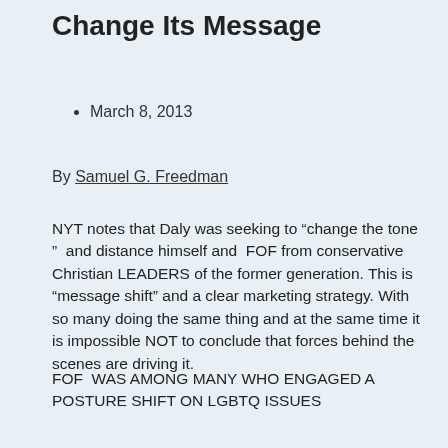Change Its Message
March 8, 2013
By Samuel G. Freedman
NYT notes that Daly was seeking to “change the tone ”  and distance himself and  FOF from conservative Christian LEADERS of the former generation. This is “message shift” and a clear marketing strategy. With so many doing the same thing and at the same time it is impossible NOT to conclude that forces behind the scenes are driving it.
FOF  WAS AMONG MANY WHO ENGAGED A POSTURE SHIFT ON LGBTQ ISSUES
How Evangelicals Att the Cult